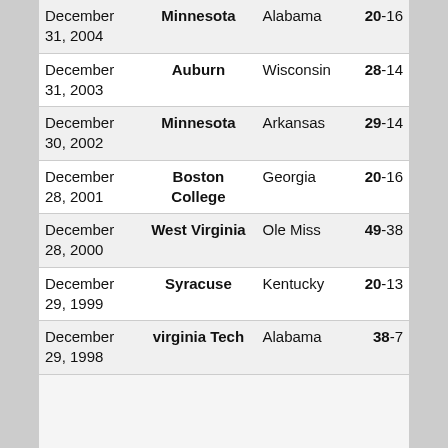| Date | Winner | Opponent | Score |
| --- | --- | --- | --- |
| December 31, 2004 | Minnesota | Alabama | 20-16 |
| December 31, 2003 | Auburn | Wisconsin | 28-14 |
| December 30, 2002 | Minnesota | Arkansas | 29-14 |
| December 28, 2001 | Boston College | Georgia | 20-16 |
| December 28, 2000 | West Virginia | Ole Miss | 49-38 |
| December 29, 1999 | Syracuse | Kentucky | 20-13 |
| December 29, 1998 | Virginia Tech | Alabama | 38-7 |